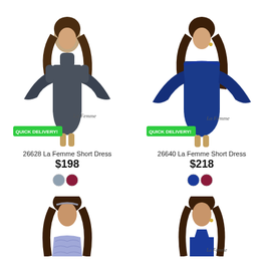[Figure (photo): Model wearing dark charcoal/slate velvet cold-shoulder bell sleeve short dress, La Femme brand. Quick Delivery badge shown.]
26628 La Femme Short Dress
$198
[Figure (photo): Color swatches: slate blue/grey and burgundy/wine for dress 26628]
[Figure (photo): Model wearing royal blue crushed velvet off-shoulder bell sleeve short dress, La Femme brand. Quick Delivery badge shown.]
26640 La Femme Short Dress
$218
[Figure (photo): Color swatches: royal blue and burgundy/wine for dress 26640]
[Figure (photo): Partial view of model wearing light blue/periwinkle lace short dress, La Femme brand - bottom row left]
[Figure (photo): Partial view of model wearing royal blue halter short dress, La Femme brand - bottom row right]